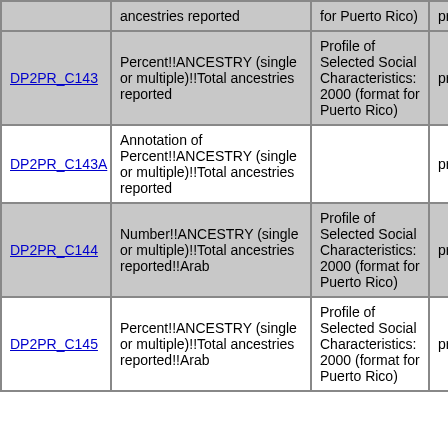| ID | Description | Source | Note |
| --- | --- | --- | --- |
|  | ancestries reported | for Puerto Rico) | pre onl |
| DP2PR_C143 | Percent!!ANCESTRY (single or multiple)!!Total ancestries reported | Profile of Selected Social Characteristics: 2000 (format for Puerto Rico) | pre onl |
| DP2PR_C143A | Annotation of Percent!!ANCESTRY (single or multiple)!!Total ancestries reported |  | pre onl |
| DP2PR_C144 | Number!!ANCESTRY (single or multiple)!!Total ancestries reported!!Arab | Profile of Selected Social Characteristics: 2000 (format for Puerto Rico) | pre onl |
| DP2PR_C145 | Percent!!ANCESTRY (single or multiple)!!Total ancestries reported!!Arab | Profile of Selected Social Characteristics: 2000 (format for Puerto Rico) | pre onl |